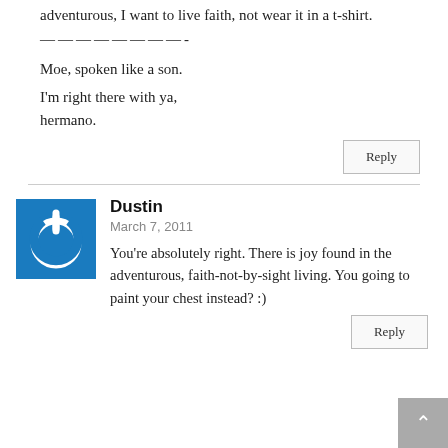adventurous, I want to live faith, not wear it in a t-shirt.
————————-
Moe, spoken like a son.
I'm right there with ya, hermano.
Reply
Dustin
March 7, 2011
You're absolutely right. There is joy found in the adventurous, faith-not-by-sight living. You going to paint your chest instead? :)
Reply